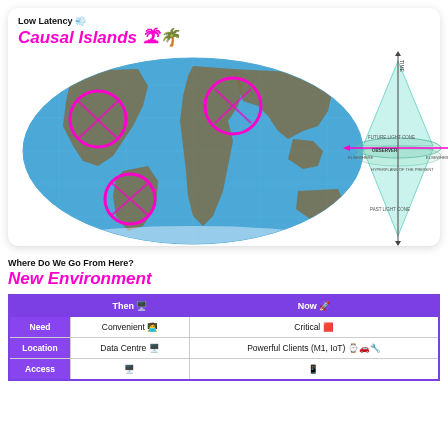Low Latency 🌬️
Causal Islands 🏝️🌴
[Figure (infographic): World map with three magenta circles highlighting regions in North America, Europe/Middle East, and South America, alongside a light-cone spacetime diagram showing FUTURE LIGHT CONE, OBSERVER, ELSEWHERE, and PAST LIGHT CONE labels.]
Where Do We Go From Here?
New Environment
|  | Then 🖥️ | Now 🚀 |
| --- | --- | --- |
| Need | Convenient 🧑‍💻 | Critical 🔴 |
| Location | Data Centre 🖥️ | Powerful Clients (M1, IoT) ⌚🚗🔧 |
| Access | 🖥️ | 📱 |